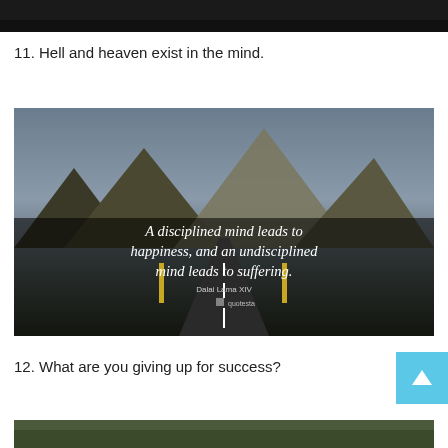[Figure (photo): Dark image at top of page, partially cropped]
11. Hell and heaven exist in the mind.
[Figure (photo): Motivational quote image showing a straight road leading toward mountains. Text overlay reads: 'A disciplined mind leads to happiness, and an undisciplined mind leads to suffering.' — Dalai Lama XIV]
12. What are you giving up for success?
[Figure (photo): Partially visible image at bottom of page]